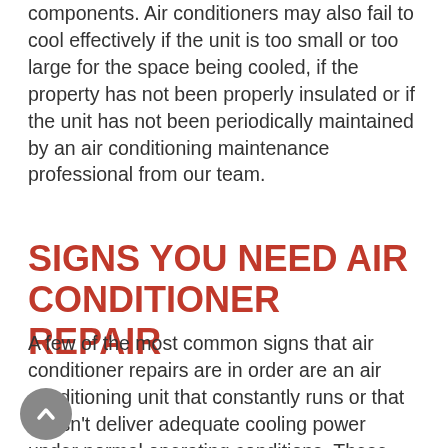components. Air conditioners may also fail to cool effectively if the unit is too small or too large for the space being cooled, if the property has not been properly insulated or if the unit has not been periodically maintained by an air conditioning maintenance professional from our team.
SIGNS YOU NEED AIR CONDITIONER REPAIR
A few of the most common signs that air conditioner repairs are in order are an air conditioning unit that constantly runs or that doesn't deliver adequate cooling power under normal operating conditions. These problems could be indicators that the